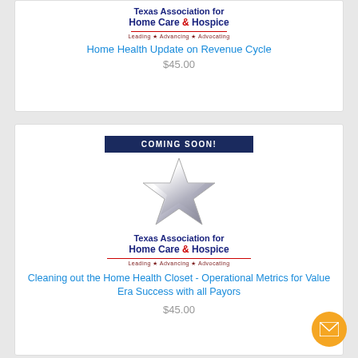[Figure (logo): Texas Association for Home Care & Hospice logo with tagline 'Leading Advancing Advocating']
Home Health Update on Revenue Cycle
$45.00
[Figure (logo): Coming Soon banner with Texas Association for Home Care & Hospice logo featuring a silver star]
Cleaning out the Home Health Closet - Operational Metrics for Value Era Success with all Payors
$45.00